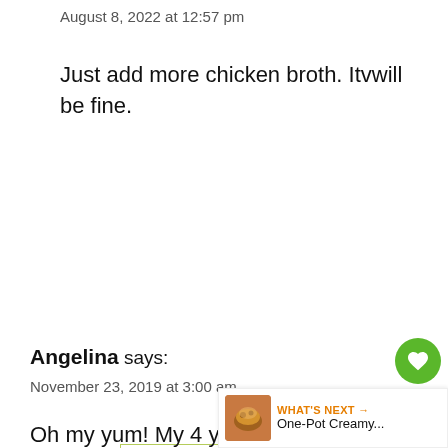August 8, 2022 at 12:57 pm
Just add more chicken broth. Itvwill be fine.
Reply
Angelina says:
November 23, 2019 at 3:00 am
Oh my yum! My 4 year old and I made this tonight and loved it. I used instead of an onion and sauteed it